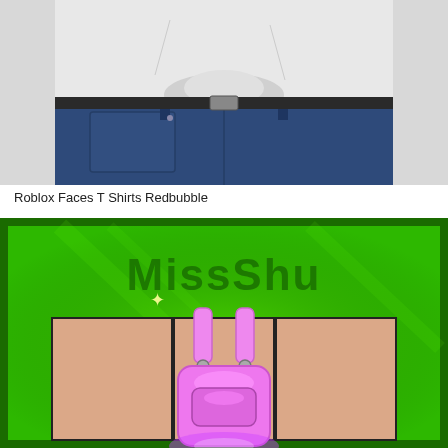[Figure (photo): Close-up photo of a person wearing blue denim jeans and a white knotted t-shirt, showing waist area]
Roblox Faces T Shirts Redbubble
[Figure (illustration): Roblox game screenshot with green background showing 'MissShu' text watermark and a pink handbag/purse item displayed on a character shirt template grid with peachy skin-tone panels]